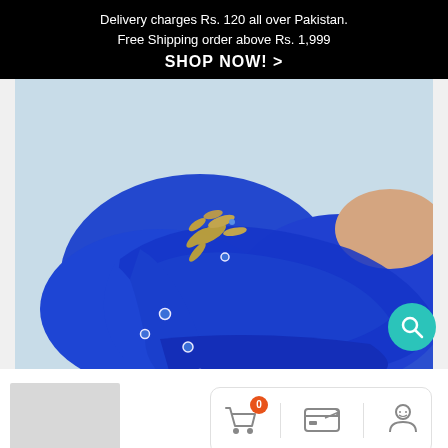Delivery charges Rs. 120 all over Pakistan.
Free Shipping order above Rs. 1,999
SHOP NOW! >
[Figure (photo): Close-up photo of a royal blue hijab/scarf with gold embroidery and pearl embellishments, draped around a person's head. The fabric is chiffon-like and features decorative gold leaf motifs and small blue pearls scattered across it.]
[Figure (photo): Small thumbnail image of the same blue hijab product, shown as a lighter grey placeholder square in the lower left section of the page.]
[Figure (infographic): Action bar with shopping cart icon (badge showing 0), credit card icon, and account/person icon. Navigation left and right arrow buttons appear below thumbnail. Five gold star rating shown at bottom right.]